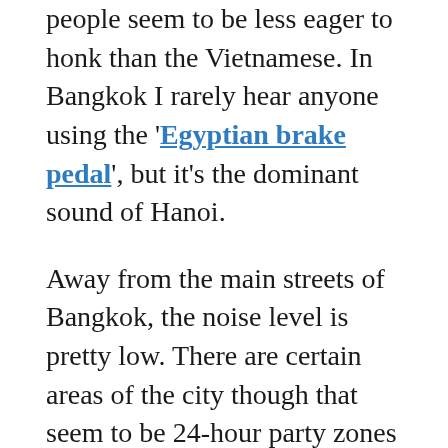people seem to be less eager to honk than the Vietnamese. In Bangkok I rarely hear anyone using the 'Egyptian brake pedal', but it's the dominant sound of Hanoi.
Away from the main streets of Bangkok, the noise level is pretty low. There are certain areas of the city though that seem to be 24-hour party zones so pick your apartment wisely or you might end up near a nightclub.
Hanoi's nightlife is much less developed and most places close at midnight. But you'll never get away from the motorbikes. They make it